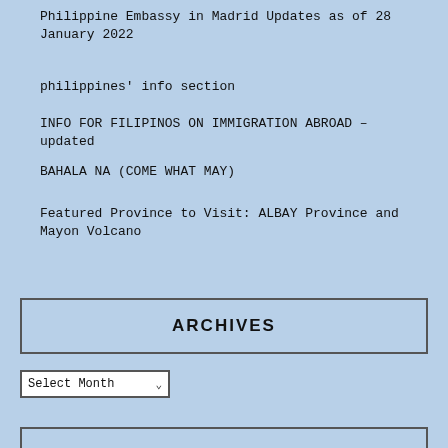Philippine Embassy in Madrid Updates as of 28 January 2022
philippines' info section
INFO FOR FILIPINOS ON IMMIGRATION ABROAD – updated
BAHALA NA (COME WHAT MAY)
Featured Province to Visit: ALBAY Province and Mayon Volcano
ARCHIVES
Select Month